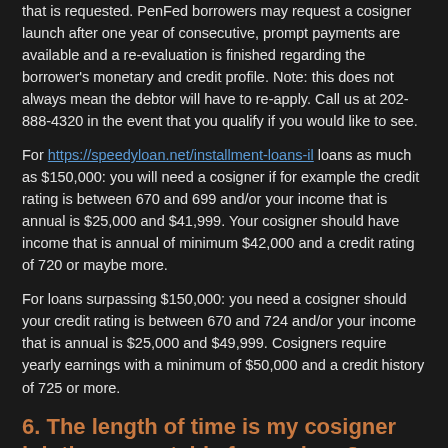that is requested. PenFed borrowers may request a cosigner launch after one year of consecutive, prompt payments are available and a re-evaluation is finished regarding the borrower's monetary and credit profile. Note: this does not always mean the debtor will have to re-apply. Call us at 202-888-4320 in the event that you qualify if you would like to see.
For https://speedyloan.net/installment-loans-il loans as much as $150,000: you will need a cosigner if for example the credit rating is between 670 and 699 and/or your income that is annual is $25,000 and $41,999. Your cosigner should have income that is annual of minimum $42,000 and a credit rating of 720 or maybe more.
For loans surpassing $150,000: you need a cosigner should your credit rating is between 670 and 724 and/or your income that is annual is $25,000 and $49,999. Cosigners require yearly earnings with a minimum of $50,000 and a credit history of 725 or more.
6. The length of time is my cosigner jointly accountable for my loan?
Your cosigner is jointly in charge of your loan when it comes to full